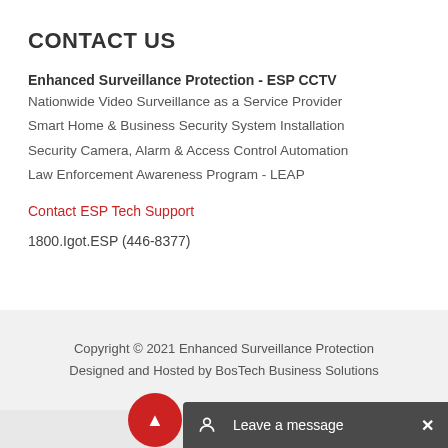CONTACT US
Enhanced Surveillance Protection - ESP CCTV
Nationwide Video Surveillance as a Service Provider
Smart Home & Business Security System Installation
Security Camera, Alarm & Access Control Automation
Law Enforcement Awareness Program - LEAP
Contact ESP Tech Support
1800.Igot.ESP (446-8377)
Copyright © 2021 Enhanced Surveillance Protection
Designed and Hosted by BosTech Business Solutions
Sitemap
Leave a message